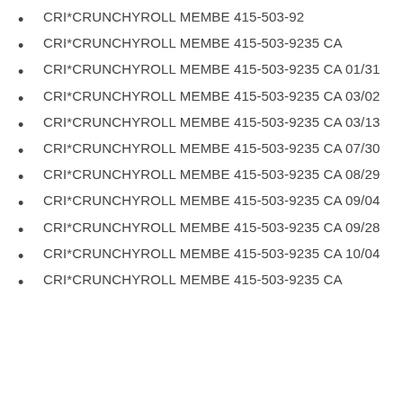CRI*CRUNCHYROLL MEMBE 415-503-92
CRI*CRUNCHYROLL MEMBE 415-503-9235 CA
CRI*CRUNCHYROLL MEMBE 415-503-9235 CA 01/31
CRI*CRUNCHYROLL MEMBE 415-503-9235 CA 03/02
CRI*CRUNCHYROLL MEMBE 415-503-9235 CA 03/13
CRI*CRUNCHYROLL MEMBE 415-503-9235 CA 07/30
CRI*CRUNCHYROLL MEMBE 415-503-9235 CA 08/29
CRI*CRUNCHYROLL MEMBE 415-503-9235 CA 09/04
CRI*CRUNCHYROLL MEMBE 415-503-9235 CA 09/28
CRI*CRUNCHYROLL MEMBE 415-503-9235 CA 10/04
CRI*CRUNCHYROLL MEMBE 415-503-9235 CA